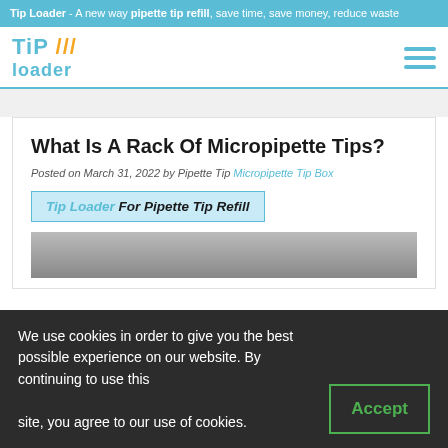Tip Loader - A new way pipette tip refill, save time, save money, reduce waste
[Figure (logo): Tip Loader logo with blue TIP text, orange slashes, and blue loader text]
What Is A Rack Of Micropipette Tips?
Posted on March 31, 2022 by Pipette Tip Micropipette Tip Box
Tip Loader For Pipette Tip Refill
[Figure (photo): Partial photo of micropipette tip rack device]
We use cookies in order to give you the best possible experience on our website. By continuing to use this site, you agree to our use of cookies.